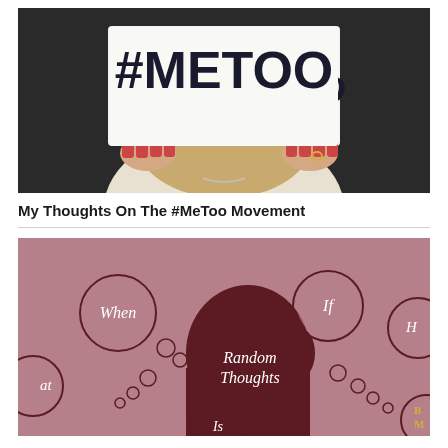[Figure (photo): Person holding a white sign reading #METOO in large dark handwritten letters, with red fingernails visible holding the sign, blonde hair visible below, dark background]
My Thoughts On The #MeToo Movement
[Figure (illustration): Illustration of a dark silhouette of a head in profile surrounded by thought bubbles with words When, If, H, at, Is, B, M, and text in the center reading 'Random Thoughts', on a mauve/dusty rose background]
Mental Wanderings And Random Thoughts Part 7